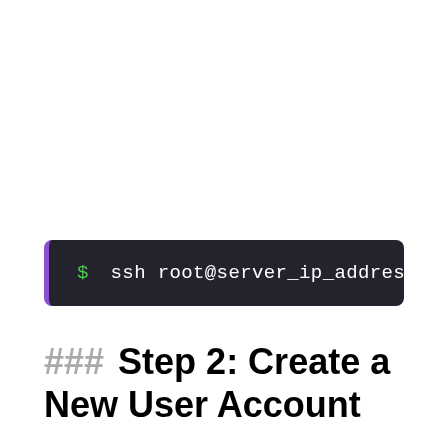[Figure (screenshot): Terminal/code block with dark background and purple left border showing the command: $ ssh root@server_ip_address]
### Step 2: Create a New User Account